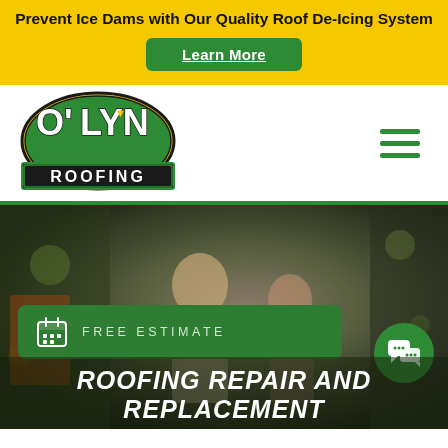Prevent Ice Dams with Our Quality Roof De-Icing System
Learn More
[Figure (logo): O'LYN ROOFING logo in green and black with bold stylized text]
[Figure (photo): Hero background photo showing two people in a business setting, dark toned]
FREE ESTIMATE
ROOFING REPAIR AND REPLACEMENT